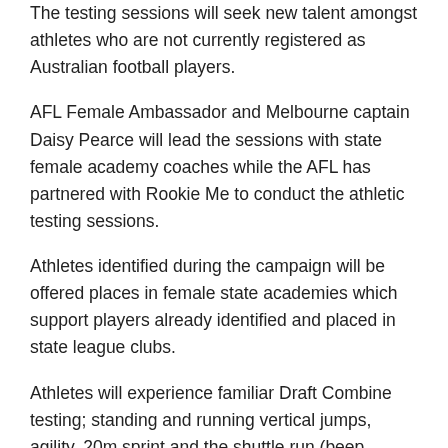The testing sessions will seek new talent amongst athletes who are not currently registered as Australian football players.
AFL Female Ambassador and Melbourne captain Daisy Pearce will lead the sessions with state female academy coaches while the AFL has partnered with Rookie Me to conduct the athletic testing sessions.
Athletes identified during the campaign will be offered places in female state academies which support players already identified and placed in state league clubs.
Athletes will experience familiar Draft Combine testing; standing and running vertical jumps, agility, 20m sprint and the shuttle run (beep...